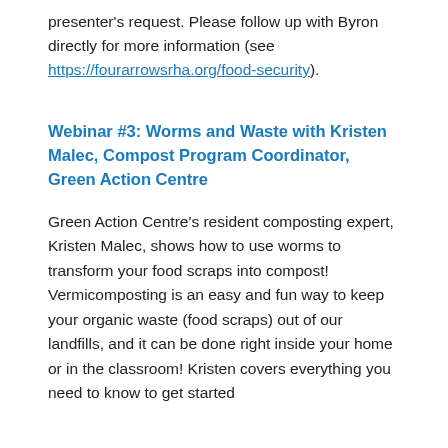presenter's request. Please follow up with Byron directly for more information (see https://fourarrowsrha.org/food-security).
Webinar #3: Worms and Waste with Kristen Malec, Compost Program Coordinator, Green Action Centre
Green Action Centre's resident composting expert, Kristen Malec, shows how to use worms to transform your food scraps into compost! Vermicomposting is an easy and fun way to keep your organic waste (food scraps) out of our landfills, and it can be done right inside your home or in the classroom! Kristen covers everything you need to know to get started